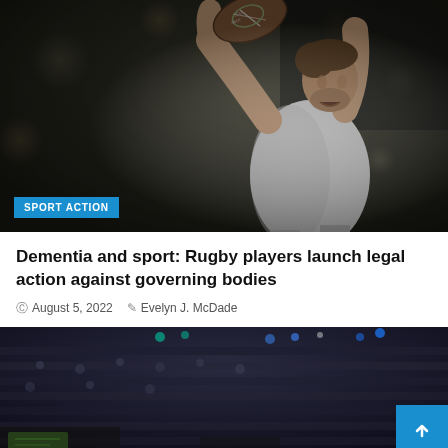[Figure (photo): Rugby player in white jersey holding up a rugby ball with both arms extended, dark blurred stadium background]
SPORT ACTION
Dementia and sport: Rugby players launch legal action against governing bodies
August 5, 2022   Evelyn J. McDade
[Figure (photo): Dark stadium interior photo with blurred crowd and arena lighting, partially visible at bottom of page]